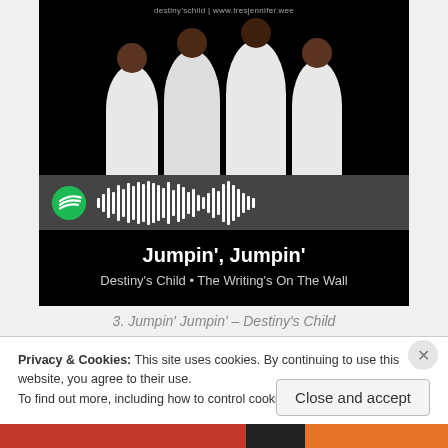[Figure (screenshot): Spotify embed card showing album art for Destiny's Child 'Jumpin' Jumpin'' with four women in white outfits, Spotify logo and soundwave barcode at bottom. Song title 'Jumpin', Jumpin'' and subtitle 'Destiny's Child • The Writing's On The Wall' shown below.]
3. Jumpin' Jumpin' – Destiny's Child
Privacy & Cookies: This site uses cookies. By continuing to use this website, you agree to their use.
To find out more, including how to control cookies, see here: Cookie Policy
Close and accept